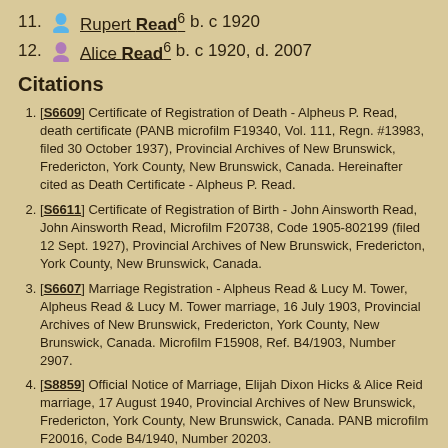11. Rupert Read⁶ b. c 1920
12. Alice Read⁶ b. c 1920, d. 2007
Citations
[S6609] Certificate of Registration of Death - Alpheus P. Read, death certificate (PANB microfilm F19340, Vol. 111, Regn. #13983, filed 30 October 1937), Provincial Archives of New Brunswick, Fredericton, York County, New Brunswick, Canada. Hereinafter cited as Death Certificate - Alpheus P. Read.
[S6611] Certificate of Registration of Birth - John Ainsworth Read, John Ainsworth Read, Microfilm F20738, Code 1905-802199 (filed 12 Sept. 1927), Provincial Archives of New Brunswick, Fredericton, York County, New Brunswick, Canada.
[S6607] Marriage Registration - Alpheus Read & Lucy M. Tower, Alpheus Read & Lucy M. Tower marriage, 16 July 1903, Provincial Archives of New Brunswick, Fredericton, York County, New Brunswick, Canada. Microfilm F15908, Ref. B4/1903, Number 2907.
[S8859] Official Notice of Marriage, Elijah Dixon Hicks & Alice Reid marriage, 17 August 1940, Provincial Archives of New Brunswick, Fredericton, York County, New Brunswick, Canada. PANB microfilm F20016, Code B4/1940, Number 20203.
[S6612] 1911 Canada Census - Alpheus Read, Household #120, 1911, Microfilm, Page 12, Line 19. Sackville Parish, Westmorland County, New brunswick. Library & Archives Canada, Library & Archives Canada, 395 Wellington St., Ottawa, Ontario, Canada.